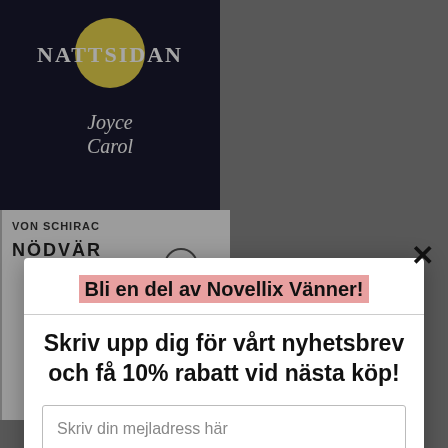[Figure (illustration): Book covers visible behind modal: left cover shows 'Nattsidan Joyce Carol' in white text on dark background with yellow moon; right cover shows 'VON SCHIRACH NÖDVÄR' with line drawing of seated figure]
Bli en del av Novellix Vänner!
Skriv upp dig för vårt nyhetsbrev och få 10% rabatt vid nästa köp!
Skriv din mejladress här
Skicka
powered by MailMunch